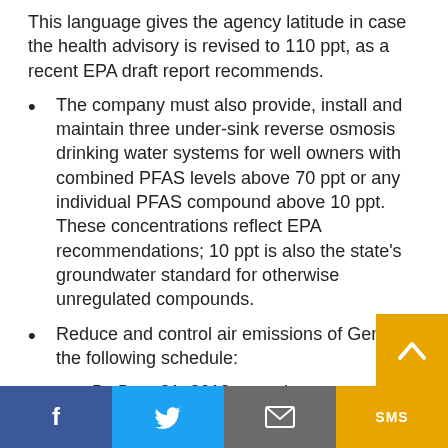This language gives the agency latitude in case the health advisory is revised to 110 ppt, as a recent EPA draft report recommends.
The company must also provide, install and maintain three under-sink reverse osmosis drinking water systems for well owners with combined PFAS levels above 70 ppt or any individual PFAS compound above 10 ppt. These concentrations reflect EPA recommendations; 10 ppt is also the state's groundwater standard for otherwise unregulated compounds.
Reduce and control air emissions of GenX on the following schedule:
By Dec. 31, 2018, complete construction of new emission controls to achieve a 92 per…